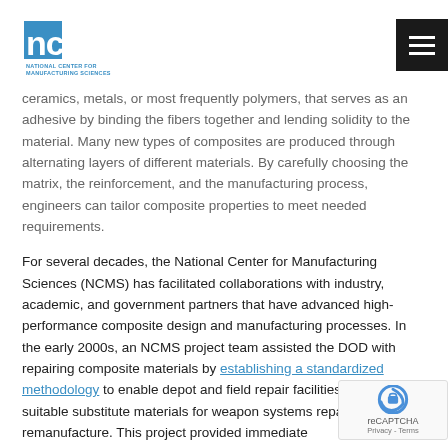NCMS - National Center for Manufacturing Sciences
ceramics, metals, or most frequently polymers, that serves as an adhesive by binding the fibers together and lending solidity to the material. Many new types of composites are produced through alternating layers of different materials. By carefully choosing the matrix, the reinforcement, and the manufacturing process, engineers can tailor composite properties to meet needed requirements.
For several decades, the National Center for Manufacturing Sciences (NCMS) has facilitated collaborations with industry, academic, and government partners that have advanced high-performance composite design and manufacturing processes. In the early 2000s, an NCMS project team assisted the DOD with repairing composite materials by establishing a standardized methodology to enable depot and field repair facilities to determine suitable substitute materials for weapon systems repair and remanufacture. This project provided immediate